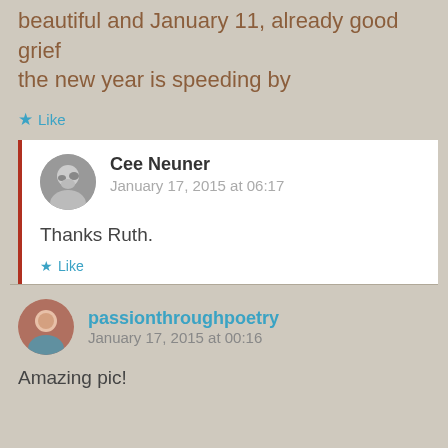beautiful and January 11, already good grief the new year is speeding by
★ Like
Cee Neuner
January 17, 2015 at 06:17
Thanks Ruth.
★ Like
passionthroughpoetry
January 17, 2015 at 00:16
Amazing pic!